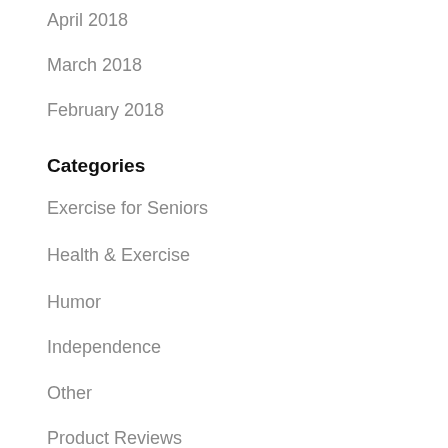April 2018
March 2018
February 2018
Categories
Exercise for Seniors
Health & Exercise
Humor
Independence
Other
Product Reviews